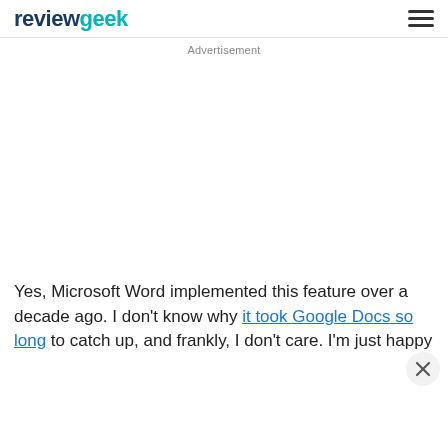reviewgeek
Advertisement
Yes, Microsoft Word implemented this feature over a decade ago. I don't know why it took Google Docs so long to catch up, and frankly, I don't care. I'm just happy